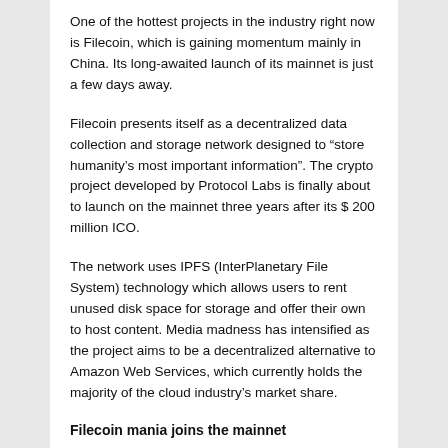One of the hottest projects in the industry right now is Filecoin, which is gaining momentum mainly in China. Its long-awaited launch of its mainnet is just a few days away.
Filecoin presents itself as a decentralized data collection and storage network designed to “store humanity’s most important information”. The crypto project developed by Protocol Labs is finally about to launch on the mainnet three years after its $ 200 million ICO.
The network uses IPFS (InterPlanetary File System) technology which allows users to rent unused disk space for storage and offer their own to host content. Media madness has intensified as the project aims to be a decentralized alternative to Amazon Web Services, which currently holds the majority of the cloud industry’s market share.
Filecoin mania joins the mainnet
At the end of September, the Nasdaq published an article highlighting the three year roadmap of the project and the